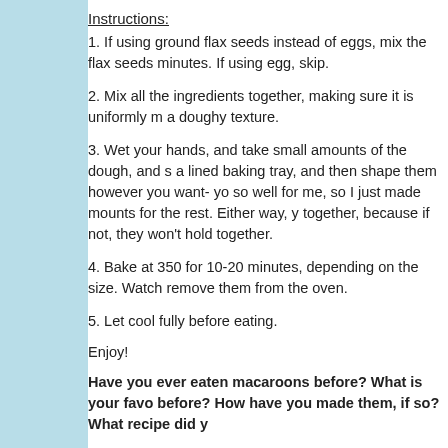Instructions:
1. If using ground flax seeds instead of eggs, mix the flax seeds minutes. If using egg, skip.
2. Mix all the ingredients together, making sure it is uniformly m a doughy texture.
3. Wet your hands, and take small amounts of the dough, and s a lined baking tray, and then shape them however you want- yo so well for me, so I just made mounts for the rest. Either way, y together, because if not, they won't hold together.
4. Bake at 350 for 10-20 minutes, depending on the size. Watch remove them from the oven.
5. Let cool fully before eating.
Enjoy!
Have you ever eaten macaroons before? What is your favo before? How have you made them, if so? What recipe did y
[Figure (other): Pinterest Save button in red]